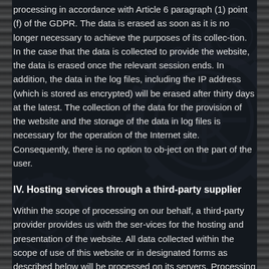processing in accordance with Article 6 paragraph (1) point (f) of the GDPR. The data is erased as soon as it is no longer necessary to achieve the purposes of its collec-tion. In the case that the data is collected to provide the website, the data is erased once the relevant session ends. In addition, the data in the log files, including the IP address (which is stored as encrypted) will be erased after thirty days at the latest. The collection of the data for the provision of the website and the storage of the data in log files is necessary for the operation of the Internet site. Consequently, there is no option to ob-ject on the part of the user.
IV. Hosting services through a third-party supplier
Within the scope of processing on our behalf, a third-party provider provides us with the ser-vices for the hosting and presentation of the website. All data collected within the scope of use of this website or in designated forms as described below will be processed on its servers. Processing on other servers only takes place within the scope described